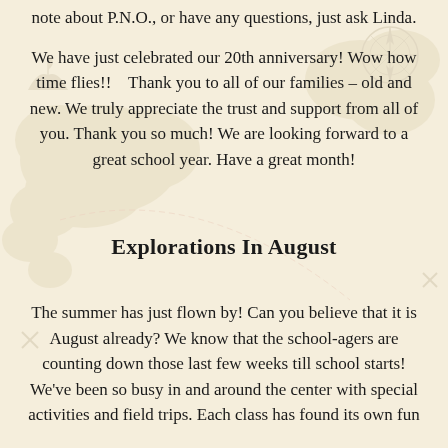note about P.N.O., or have any questions, just ask Linda.
We have just celebrated our 20th anniversary!  Wow how time flies!!   Thank you to all of our families – old and new.  We truly appreciate the trust and support from all of you.  Thank you so much!  We are looking forward to a great school year.  Have a great month!
Explorations In August
The summer has just flown by!  Can you believe that it is August already?  We know that the school-agers are counting down those last few weeks till school starts!  We've been so busy in and around the center with special activities and field trips.  Each class has found its own fun